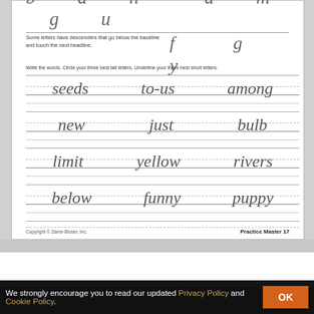[Figure (illustration): Cursive handwriting worksheet showing tall letters b d h and short letters a m g u at the top with baseline rules]
Some letters have descenders that go below the baseline and touch the next headline.
Write the words. Circle your three best tall letters. Underline your three best short letters.
[Figure (illustration): Cursive handwriting practice lines with words: seeds, to-us, among, new, just, bulb, limit, yellow, rivers, below, funny, puppy]
Copyright © Zaner-Bloser, Inc.
Practice Master 17
Editor Pick`s
We strongly encourage you to read our updated Privacy Policy and Cookie Policy.